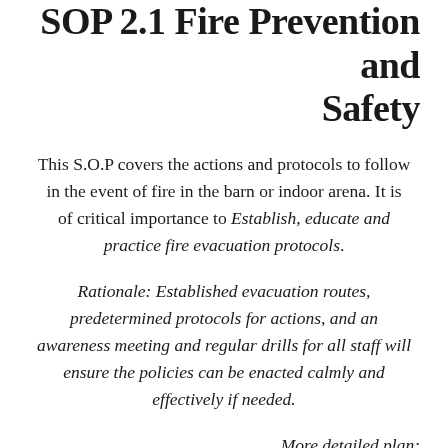SOP 2.1 Fire Prevention and Safety
This S.O.P covers the actions and protocols to follow in the event of fire in the barn or indoor arena. It is of critical importance to Establish, educate and practice fire evacuation protocols.
Rationale: Established evacuation routes, predetermined protocols for actions, and an awareness meeting and regular drills for all staff will ensure the policies can be enacted calmly and effectively if needed.
More detailed plan:
1. Establish evacuation routes for all locations within all structures and assign a meeting place for all staff and horses to gather where a head